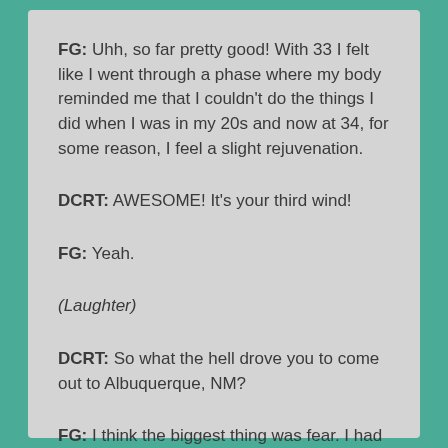FG: Uhh, so far pretty good! With 33 I felt like I went through a phase where my body reminded me that I couldn't do the things I did when I was in my 20s and now at 34, for some reason, I feel a slight rejuvenation.
DCRT: AWESOME! It's your third wind!
FG: Yeah.
(Laughter)
DCRT: So what the hell drove you to come out to Albuquerque, NM?
FG: I think the biggest thing was fear. I had gotten